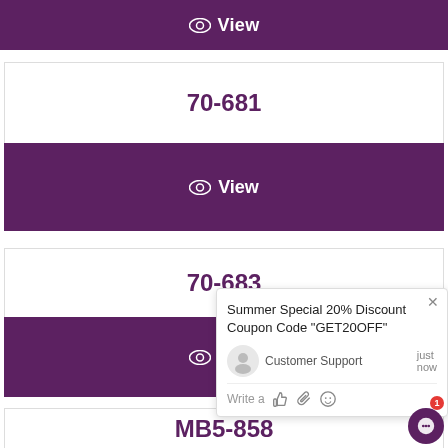[Figure (screenshot): Purple 'View' button bar at the top of the page with eye icon]
70-681
[Figure (screenshot): Purple 'View' button bar for 70-681 with eye icon]
70-683
[Figure (screenshot): Purple 'View' button bar for 70-683 with eye icon (partially covered by chat popup)]
MB5-858
[Figure (screenshot): Purple 'View' button bar for MB5-858 with eye icon (partial, bottom of page)]
Summer Special 20% Discount Coupon Code "GET20OFF"
Customer Support
just now
Write a